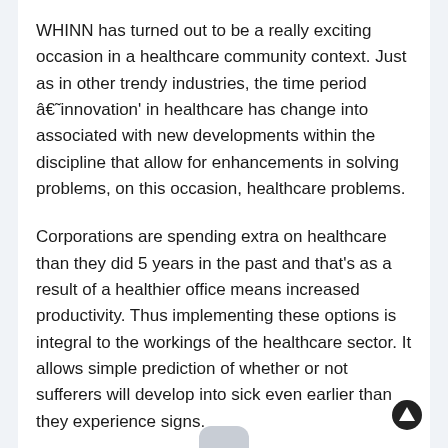WHINN has turned out to be a really exciting occasion in a healthcare community context. Just as in other trendy industries, the time period â€˜innovation' in healthcare has change into associated with new developments within the discipline that allow for enhancements in solving problems, on this occasion, healthcare problems.
Corporations are spending extra on healthcare than they did 5 years in the past and that's as a result of a healthier office means increased productivity. Thus implementing these options is integral to the workings of the healthcare sector. It allows simple prediction of whether or not sufferers will develop into sick even earlier than they experience signs.